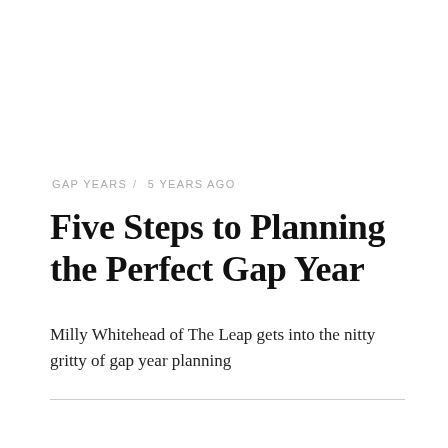GAP YEARS /   5 YEARS AGO
Five Steps to Planning the Perfect Gap Year
Milly Whitehead of The Leap gets into the nitty gritty of gap year planning